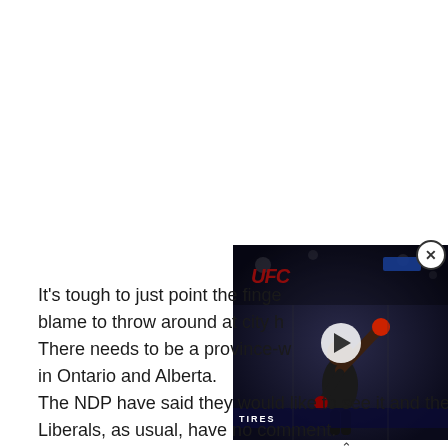It's tough to just point the finger blame to throw around at city h There needs to be a province-w in Ontario and Alberta.
[Figure (photo): Video overlay thumbnail showing a UFC fighter raising their fist in victory, with UFC red logo visible in the background arena. A play button is visible in the center.]
The NDP have said they would like to see it and the Liberals, as usual, have no comment.